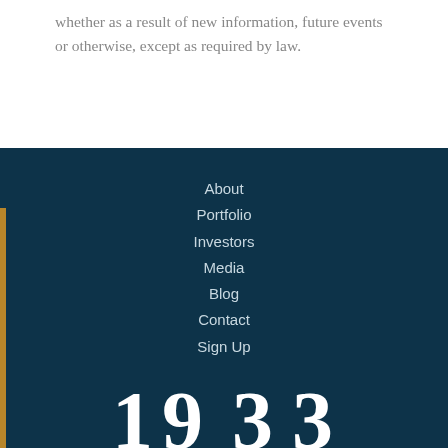whether as a result of new information, future events or otherwise, except as required by law.
About
Portfolio
Investors
Media
Blog
Contact
Sign Up
[Figure (logo): 1933 Industries logo — large numerals '1933' above a gold horizontal rule, with 'INDUSTRIES' in spaced capitals below, all in white on dark teal background]